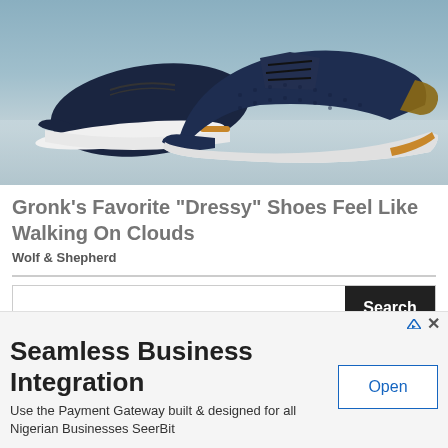[Figure (photo): Photo of a pair of dark navy blue knit/mesh dress sneakers with white soles and tan/caramel accent trim, displayed on a light grey surface against a light blue-grey background.]
Gronk's Favorite "Dressy" Shoes Feel Like Walking On Clouds
Wolf & Shepherd
[Figure (screenshot): Search bar UI element with a text input field and a dark 'Search' button on the right.]
[Figure (screenshot): Advertisement banner for SeerBit payment gateway. Contains ad icon and close button at top right. Headline: 'Seamless Business Integration'. Body: 'Use the Payment Gateway built & designed for all Nigerian Businesses SeerBit'. Open button on the right.]